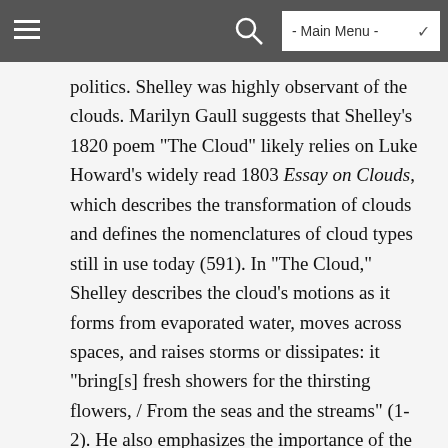- Main Menu -
politics. Shelley was highly observant of the clouds. Marilyn Gaull suggests that Shelley’s 1820 poem “The Cloud” likely relies on Luke Howard’s widely read 1803 Essay on Clouds, which describes the transformation of clouds and defines the nomenclatures of cloud types still in use today (591). In “The Cloud,” Shelley describes the cloud’s motions as it forms from evaporated water, moves across spaces, and raises storms or dissipates: it “bring[s] fresh showers for the thirsting flowers, / From the seas and the streams” (1-2). He also emphasizes the importance of the ocean within this life cycle, as the vast repository for and ultimate destination of the water that forms clouds. Shelley depicts the ocean as the “geni” or “Spirit” that inspires the clouds’ motion: lightning is the “pilot” of the cloud, but the pilot is